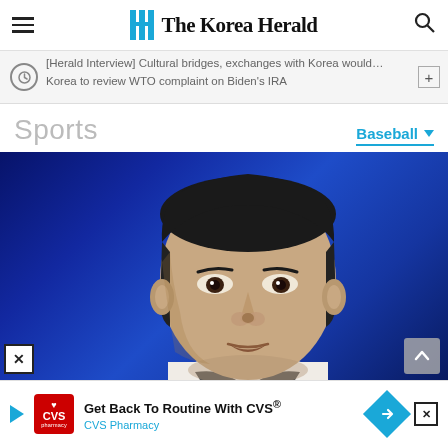The Korea Herald
[Herald Interview] Cultural bridges, exchanges with Korea would… Korea to review WTO complaint on Biden's IRA
Sports
Baseball
[Figure (photo): Close-up portrait photo of a man (South Korean President Yoon Suk-yeol) against a blue gradient background, wearing a suit.]
Get Back To Routine With CVS® CVS Pharmacy